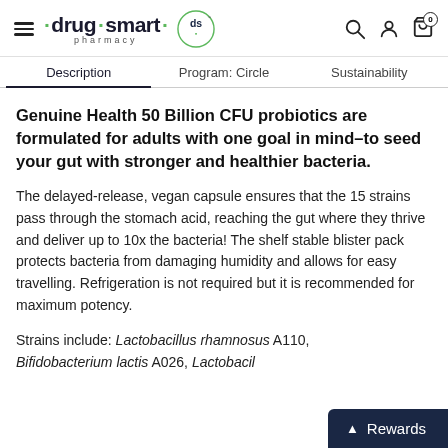[Figure (logo): Drug Smart Pharmacy logo with brand name and circular DS icon]
Description | Program: Circle | Sustainability
Genuine Health 50 Billion CFU probiotics are formulated for adults with one goal in mind–to seed your gut with stronger and healthier bacteria.
The delayed-release, vegan capsule ensures that the 15 strains pass through the stomach acid, reaching the gut where they thrive and deliver up to 10x the bacteria! The shelf stable blister pack protects bacteria from damaging humidity and allows for easy travelling. Refrigeration is not required but it is recommended for maximum potency.
Strains include: Lactobacillus rhamnosus A110, Bifidobacterium lactis A026, Lactobacil…